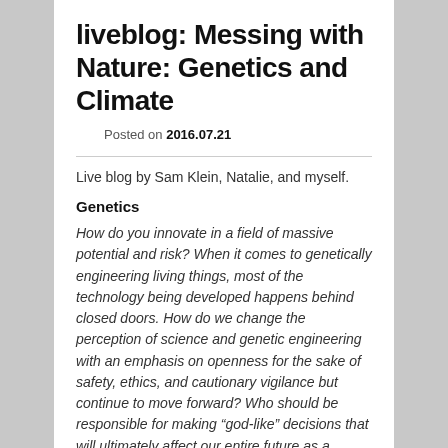liveblog: Messing with Nature: Genetics and Climate
Posted on 2016.07.21
Live blog by Sam Klein, Natalie, and myself.
Genetics
How do you innovate in a field of massive potential and risk? When it comes to genetically engineering living things, most of the technology being developed happens behind closed doors. How do we change the perception of science and genetic engineering with an emphasis on openness for the sake of safety, ethics, and cautionary vigilance but continue to move forward? Who should be responsible for making “god-like” decisions that will ultimately affect our entire future as a society? Megan